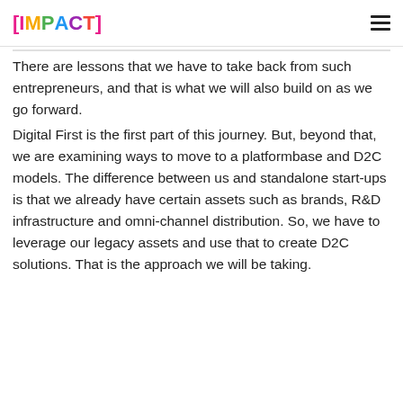[IMPACT]
There are lessons that we have to take back from such entrepreneurs, and that is what we will also build on as we go forward.
Digital First is the first part of this journey. But, beyond that, we are examining ways to move to a platformbase and D2C models. The difference between us and standalone start-ups is that we already have certain assets such as brands, R&D infrastructure and omni-channel distribution. So, we have to leverage our legacy assets and use that to create D2C solutions. That is the approach we will be taking.